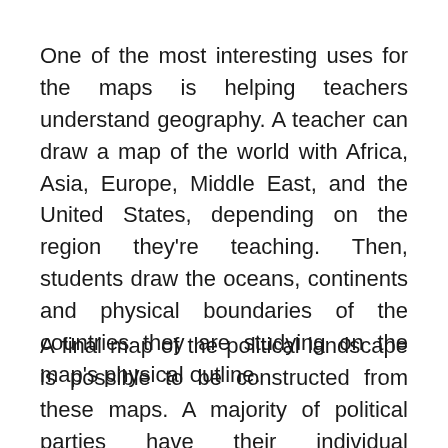One of the most interesting uses for the maps is helping teachers understand geography. A teacher can draw a map of the world with Africa, Asia, Europe, Middle East, and the United States, depending on the region they're teaching. Then, students draw the oceans, continents and physical boundaries of the countries they are studying on the map's physical outline.
A final map of the political landscape is possible to be constructed from these maps. A majority of political parties have their individual websites on which they